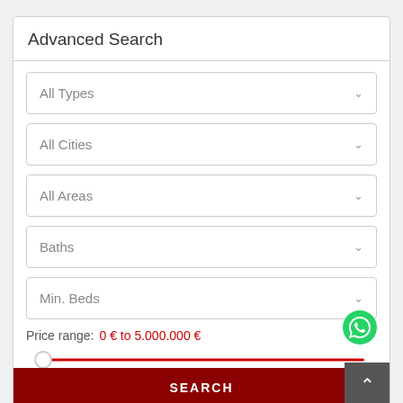Advanced Search
All Types
All Cities
All Areas
Baths
Min. Beds
Price range: 0 € to 5.000.000 €
More Search Options
SEARCH